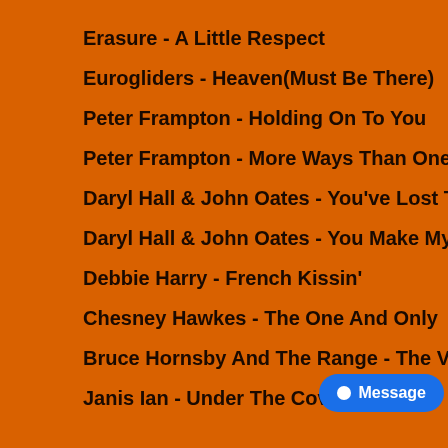Erasure - A Little Respect
Eurogliders - Heaven(Must Be There)
Peter Frampton - Holding On To You
Peter Frampton - More Ways Than One
Daryl Hall & John Oates - You've Lost That L
Daryl Hall & John Oates - You Make My Drea
Debbie Harry - French Kissin'
Chesney Hawkes - The One And Only
Bruce Hornsby And The Range - The Valley
Janis Ian - Under The Covers